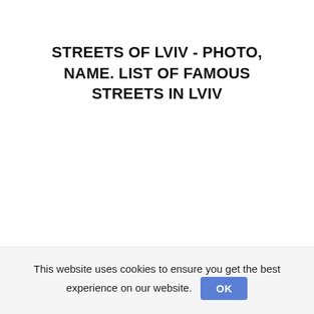STREETS OF LVIV - PHOTO, NAME. LIST OF FAMOUS STREETS IN LVIV
This website uses cookies to ensure you get the best experience on our website. OK